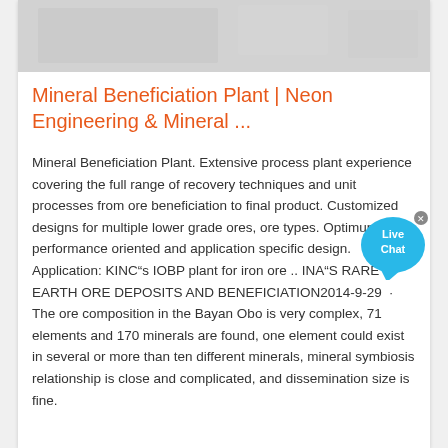[Figure (photo): Grayscale photo strip at top of card showing industrial/mineral processing scene]
Mineral Beneficiation Plant | Neon Engineering & Mineral ...
Mineral Beneficiation Plant. Extensive process plant experience covering the full range of recovery techniques and unit processes from ore beneficiation to final product. Customized designs for multiple lower grade ores, ore types. Optimum performance oriented and application specific design. Application: KINC"s IOBP plant for iron ore .. INA"S RARE EARTH ORE DEPOSITS AND BENEFICIATION2014-9-29 · The ore composition in the Bayan Obo is very complex, 71 elements and 170 minerals are found, one element could exist in several or more than ten different minerals, mineral symbiosis relationship is close and complicated, and dissemination size is fine.
[Figure (screenshot): Live Chat blue speech bubble widget overlay]